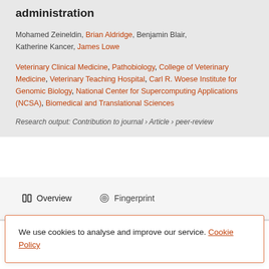administration
Mohamed Zeineldin, Brian Aldridge, Benjamin Blair, Katherine Kancer, James Lowe
Veterinary Clinical Medicine, Pathobiology, College of Veterinary Medicine, Veterinary Teaching Hospital, Carl R. Woese Institute for Genomic Biology, National Center for Supercomputing Applications (NCSA), Biomedical and Translational Sciences
Research output: Contribution to journal › Article › peer-review
Overview   Fingerprint
We use cookies to analyse and improve our service. Cookie Policy